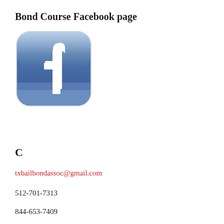Bond Course Facebook page
[Figure (logo): Facebook app icon — rounded square with blue gradient background and white lowercase 'f' logo]
C
txbailbondassoc@gmail.com
512-701-7313
844-653-7409